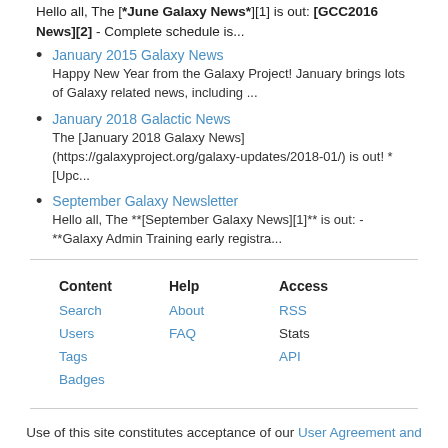Hello all, The [**June Galaxy News**][1] is out: **[GCC2016 News][2]** - Complete schedule is...
January 2015 Galaxy News
Happy New Year from the Galaxy Project! January brings lots of Galaxy related news, including ...
January 2018 Galactic News
The [January 2018 Galaxy News](https://galaxyproject.org/galaxy-updates/2018-01/) is out! * [Upc...
September Galaxy Newsletter
Hello all, The **[September Galaxy News][1]** is out: - **Galaxy Admin Training early registra...
| Content | Help | Access |
| --- | --- | --- |
| Search | About | RSS |
| Users | FAQ | Stats |
| Tags |  | API |
| Badges |  |  |
Use of this site constitutes acceptance of our User Agreement and Privacy Policy.
Traffic: 169 users visited in the last hour  Biostar version 16.09